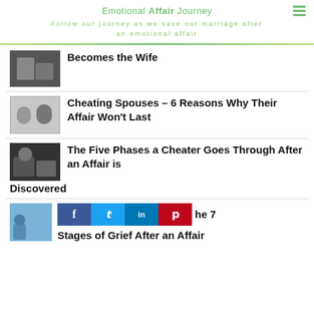Emotional Affair Journey
Follow our journey as we save our marriage after an emotional affair
Becomes the Wife
Cheating Spouses – 6 Reasons Why Their Affair Won't Last
The Five Phases a Cheater Goes Through After an Affair is Discovered
The 7 Stages of Grief After an Affair